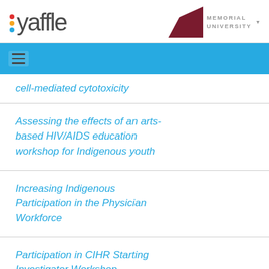[Figure (logo): Yaffle logo with colored dots and stylized text]
[Figure (logo): Memorial University logo with dark red geometric shape]
[Figure (other): Blue navigation bar with hamburger menu icon]
cell-mediated cytotoxicity
Assessing the effects of an arts-based HIV/AIDS education workshop for Indigenous youth
Increasing Indigenous Participation in the Physician Workforce
Participation in CIHR Starting Investigator Workshop